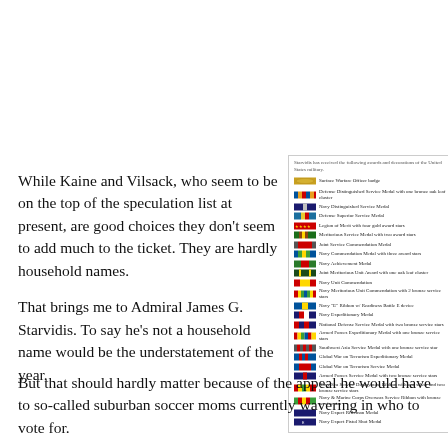While Kaine and Vilsack, who seem to be on the top of the speculation list at present, are good choices they don't seem to add much to the ticket. They are hardly household names.

That brings me to Admiral James G. Starvidis. To say he's not a household name would be the understatement of the year.
[Figure (infographic): List of military awards and decorations received by Starvidis, including ribbons and medals such as Defense Distinguished Service Medal, Navy Distinguished Service Medal, Legion of Merit with four gold award stars, and many others, shown with their ribbon images.]
But that should hardly matter because of the appeal he would have to so-called suburban soccer moms currently wavering in who to vote for.
Trump is stirring up a panic in many of them, and will continue